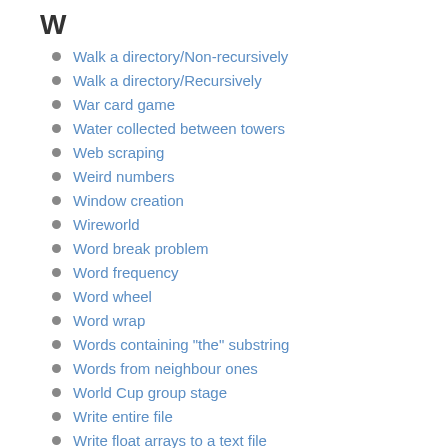W
Walk a directory/Non-recursively
Walk a directory/Recursively
War card game
Water collected between towers
Web scraping
Weird numbers
Window creation
Wireworld
Word break problem
Word frequency
Word wheel
Word wrap
Words containing "the" substring
Words from neighbour ones
World Cup group stage
Write entire file
Write float arrays to a text file
Write language name in 3D ASCII
X